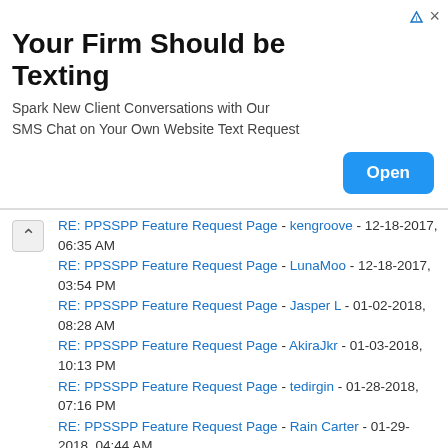[Figure (other): Advertisement banner: 'Your Firm Should be Texting' with Open button]
RE: PPSSPP Feature Request Page - kengroove - 12-18-2017, 06:35 AM
RE: PPSSPP Feature Request Page - LunaMoo - 12-18-2017, 03:54 PM
RE: PPSSPP Feature Request Page - Jasper L - 01-02-2018, 08:28 AM
RE: PPSSPP Feature Request Page - AkiraJkr - 01-03-2018, 10:13 PM
RE: PPSSPP Feature Request Page - tedirgin - 01-28-2018, 07:16 PM
RE: PPSSPP Feature Request Page - Rain Carter - 01-29-2018, 04:44 AM
RE: PPSSPP Feature Request Page - Clariska - 01-29-2018, 08:20 AM
RE: PPSSPP Feature Request Page - scoutinel - 01-30-2018, 02:26 PM
RE: PPSSPP Feature Request Page - AkiraJkr - 01-30-2018, 06:21 PM
RE: PPSSPP Feature Request Page - sohail_tekken - 01-31-2018, 05:15 AM
RE: PPSSPP Feature Request Page - Smoker1 - 02-22-2018, 03:28 AM
RE: PPSSPP Feature Request Page - AkiraJkr - 03-12-2018, 10:46 PM
RE: PPSSPP Feature Request Page - the end - 03-18-2018, 09:57 AM